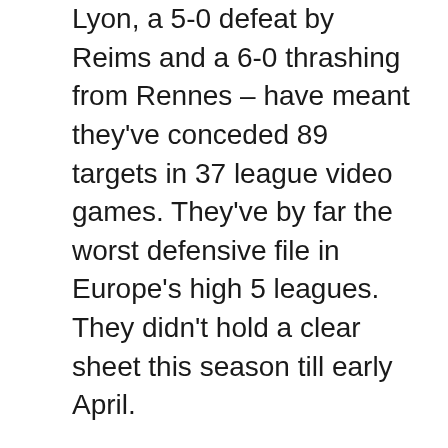Lyon, a 5-0 defeat by Reims and a 6-0 thrashing from Rennes – have meant they've conceded 89 targets in 37 league video games. They've by far the worst defensive file in Europe's high 5 leagues. They didn't hold a clear sheet this season till early April.
David Guion changed former Switzerland supervisor Vladimir Petkovic in February and was meant to deliver the crew group and stoicism. At Reims, his crew had low-blocked their approach into Europe within the shortened 2019-20 marketing campaign, after they completed sixth with one of the best defensive file in League 1. His impact at Bordeaux, nevertheless, has been minimal. Guion's 0.62 factors per recreation is worse than Petkovic's 0.87 and his facet have